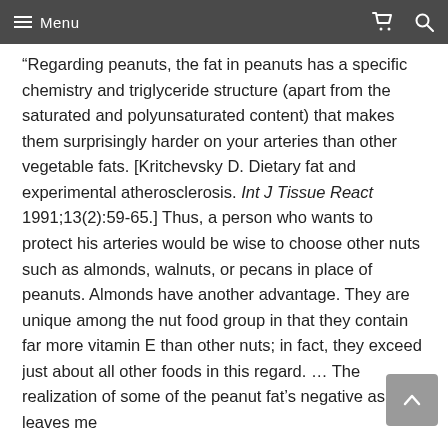≡ Menu
“Regarding peanuts, the fat in peanuts has a specific chemistry and triglyceride structure (apart from the saturated and polyunsaturated content) that makes them surprisingly harder on your arteries than other vegetable fats. [Kritchevsky D. Dietary fat and experimental atherosclerosis. Int J Tissue React 1991;13(2):59-65.] Thus, a person who wants to protect his arteries would be wise to choose other nuts such as almonds, walnuts, or pecans in place of peanuts. Almonds have another advantage. They are unique among the nut food group in that they contain far more vitamin E than other nuts; in fact, they exceed just about all other foods in this regard. … The realization of some of the peanut fat’s negative aspects leaves me